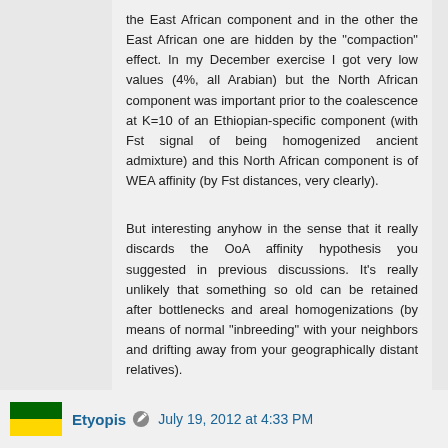the East African component and in the other the East African one are hidden by the "compaction" effect. In my December exercise I got very low values (4%, all Arabian) but the North African component was important prior to the coalescence at K=10 of an Ethiopian-specific component (with Fst signal of being homogenized ancient admixture) and this North African component is of WEA affinity (by Fst distances, very clearly).
But interesting anyhow in the sense that it really discards the OoA affinity hypothesis you suggested in previous discussions. It's really unlikely that something so old can be retained after bottlenecks and areal homogenizations (by means of normal "inbreeding" with your neighbors and drifting away from your geographically distant relatives).
Etyopis  July 19, 2012 at 4:33 PM